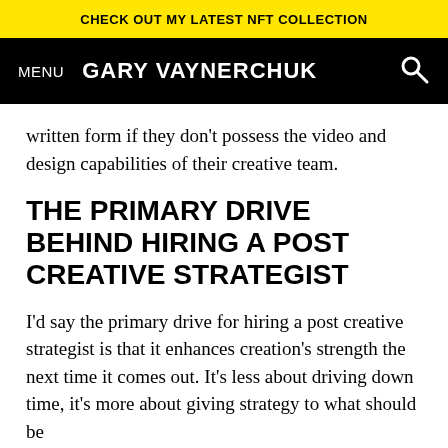CHECK OUT MY LATEST NFT COLLECTION
MENU  GARY VAYNERCHUK
written form if they don’t possess the video and design capabilities of their creative team.
THE PRIMARY DRIVE BEHIND HIRING A POST CREATIVE STRATEGIST
I’d say the primary drive for hiring a post creative strategist is that it enhances creation’s strength the next time it comes out. It’s less about driving down time, it’s more about giving strategy to what should be